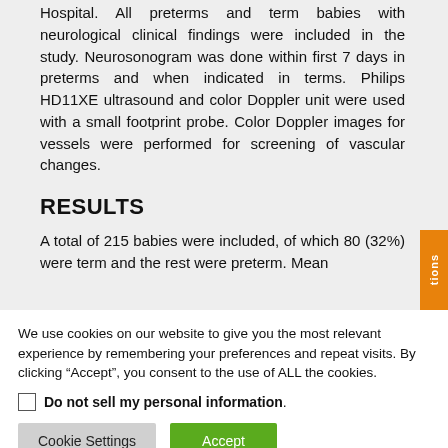Hospital. All preterms and term babies with neurological clinical findings were included in the study. Neurosonogram was done within first 7 days in preterms and when indicated in terms. Philips HD11XE ultrasound and color Doppler unit were used with a small footprint probe. Color Doppler images for vessels were performed for screening of vascular changes.
RESULTS
A total of 215 babies were included, of which 80 (32%) were term and the rest were preterm. Mean
We use cookies on our website to give you the most relevant experience by remembering your preferences and repeat visits. By clicking “Accept”, you consent to the use of ALL the cookies.
Do not sell my personal information.